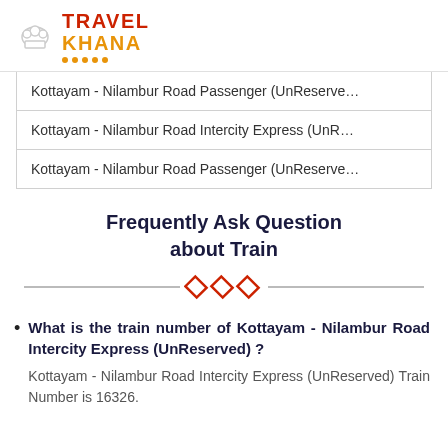[Figure (logo): TravelKhana logo with chef hat icon, red TRAVEL text and orange KHANA text with orange dots underline]
| Kottayam - Nilambur Road Passenger (UnReserve… |
| Kottayam - Nilambur Road Intercity Express (UnR… |
| Kottayam - Nilambur Road Passenger (UnReserve… |
Frequently Ask Question about Train
What is the train number of Kottayam - Nilambur Road Intercity Express (UnReserved) ? Kottayam - Nilambur Road Intercity Express (UnReserved) Train Number is 16326.